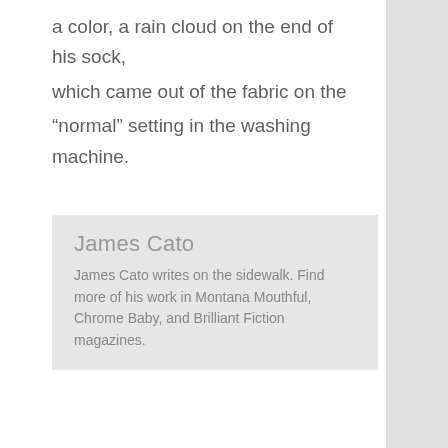a color, a rain cloud on the end of his sock, which came out of the fabric on the “normal” setting in the washing machine.
James Cato
James Cato writes on the sidewalk. Find more of his work in Montana Mouthful, Chrome Baby, and Brilliant Fiction magazines.
[Figure (illustration): Book cover image showing a view through a chain-link fence over a green landscape with large white text reading 'SHE KNEW' and partial text 'BR...' at the bottom. An orange circular chat/comment icon is visible in the lower right area of the image.]